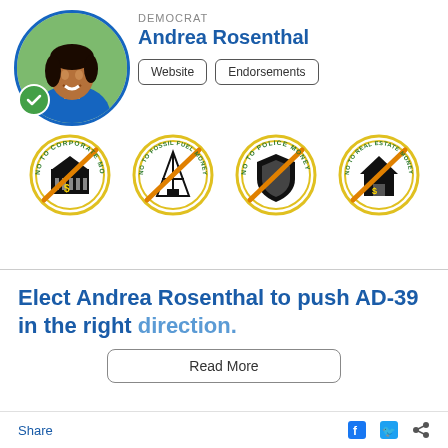[Figure (photo): Headshot photo of Andrea Rosenthal in a blue blazer, smiling, with green check badge overlay]
DEMOCRAT
Andrea Rosenthal
Website | Endorsements
[Figure (infographic): Four circular badge icons: No to Corporate Money, No to Fossil Fuel Money, No to Police Money, No to Real Estate Money]
Elect Andrea Rosenthal to push AD-39 in the right direction.
Read More
Share